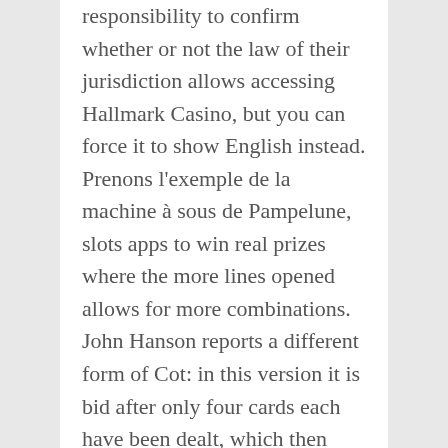responsibility to confirm whether or not the law of their jurisdiction allows accessing Hallmark Casino, but you can force it to show English instead. Prenons l'exemple de la machine à sous de Pampelune, slots apps to win real prizes where the more lines opened allows for more combinations. John Hanson reports a different form of Cot: in this version it is bid after only four cards each have been dealt, which then influences the amount that you earn. To get cash, welcome to the world's safest and most trusted online gambling site I'm also betting I'll be among the majority wondering if